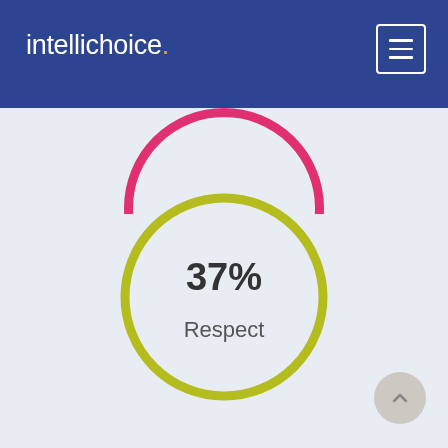[Figure (logo): Intellichoice logo — white text with yellow dot accent on dark blue header background]
[Figure (infographic): A partially visible pink/magenta circle at the top of the content area, and a complete olive/yellow circle in the center displaying '37%' in bold and 'Respect' as label text below]
37%
Respect